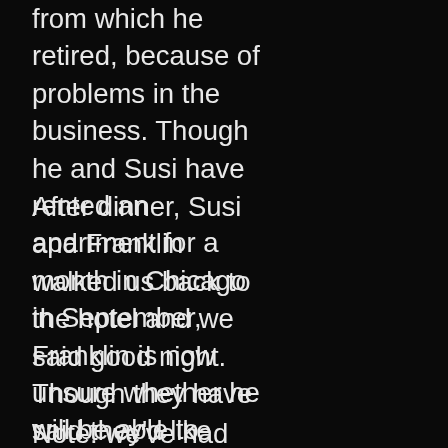from which he retired, because of problems in the business. Though he and Susi have rented an apartment for a month in Chicago in September, Franklin is now unsure whether he will be able to come.
After dinner, Susi and Franklin walked us back to the hotel and we said good night. Though they have said they'd like to,get together again, our tight schedule makes that unlikely. Our luggage had not arrived at the hotel, but the latest was that it was expected at 11:30. We told the desk not to bring it up to the room, since we are getting up at 4:30 tomorrow morning.
Note: we've had internet difficulties, which prevented